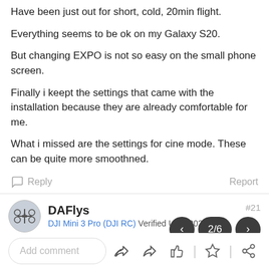Have been just out for short, cold, 20min flight.
Everything seems to be ok on my Galaxy S20.
But changing EXPO is not so easy on the small phone screen.
Finally i keept the settings that came with the installation because they are already comfortable for me.
What i missed are the settings for cine mode. These can be quite more smoothned.
Reply   Report
DAFlys
DJI Mini 3 Pro (DJI RC) Verified User 2021-12
#21
2/6
Add comment